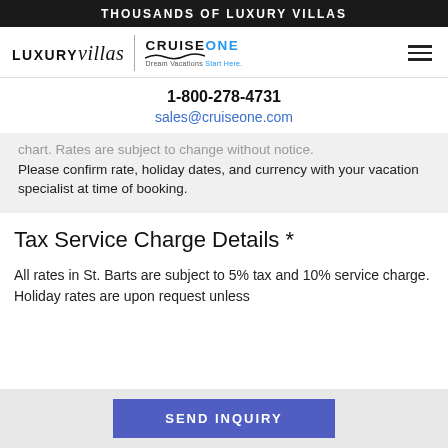THOUSANDS OF LUXURY VILLAS
[Figure (logo): LUXURYvillas | CRUISEONE Dream Vacations Start Here logo with hamburger menu icon]
1-800-278-4731
sales@cruiseone.com
chart. Rates are subject to change without notice. Please confirm rate, holiday dates, and currency with your vacation specialist at time of booking.
Tax Service Charge Details *
All rates in St. Barts are subject to 5% tax and 10% service charge. Holiday rates are upon request unless
SEND INQUIRY